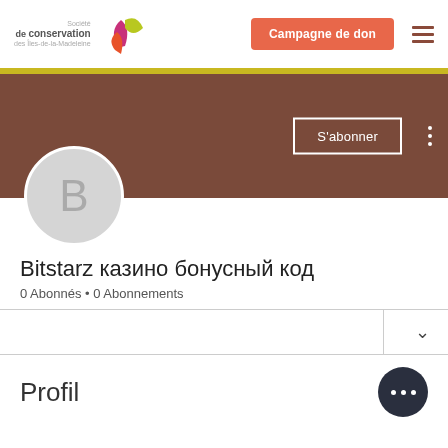Société de conservation des Îles-de-la-Madeleine — Campagne de don
[Figure (screenshot): Website profile page for 'Bitstarz казино бонусный код' on the Société de conservation des Îles-de-la-Madeleine website. Shows a brown banner, circular avatar with letter B, subscribe button, profile name, subscriber stats, and a Profil section.]
Bitstarz казино бонусный код
0 Abonnés • 0 Abonnements
Profil